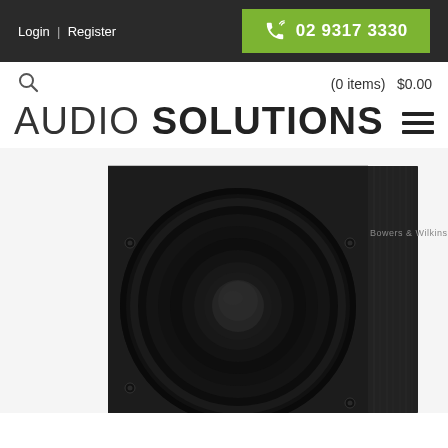Login | Register   02 9317 3330
(0 items)  $0.00
AUDIO SOLUTIONS
[Figure (photo): Close-up photograph of a black Bowers & Wilkins subwoofer speaker with circular driver cone and wooden cabinet]